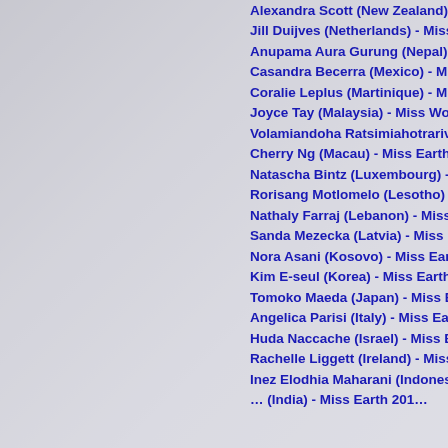[Figure (photo): Grayscale background photo of people, partially visible on the left side of the page]
Alexandra Scott (New Zealand) - Miss Ea…
Jill Duijves (Netherlands) - Miss Earth 20…
Anupama Aura Gurung (Nepal) - Miss Ea…
Casandra Becerra (Mexico) - Miss Earth …
Coralie Leplus (Martinique) - Miss World …
Joyce Tay (Malaysia) - Miss World 2011
Volamiandoha Ratsimiahotrarivo (Madag…
Cherry Ng (Macau) - Miss Earth 2011
Natascha Bintz (Luxembourg) - Miss Ear…
Rorisang Motlomelo (Lesotho) - Miss Ear…
Nathaly Farraj (Lebanon) - Miss Earth 20…
Sanda Mezecka (Latvia) - Miss Earth 201…
Nora Asani (Kosovo) - Miss Earth 2011
Kim E-seul (Korea) - Miss Earth 2011
Tomoko Maeda (Japan) - Miss Earth 201…
Angelica Parisi (Italy) - Miss Earth 2011
Huda Naccache (Israel) - Miss Earth 201…
Rachelle Liggett (Ireland) - Miss Earth 20…
Inez Elodhia Maharani (Indonesia) - Miss…
… (India) - Miss Earth 201…